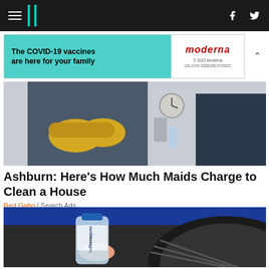HuffPost navigation with hamburger menu, logo, facebook and twitter icons
[Figure (other): Advertisement banner: The COVID-19 vaccines are here for your family, Moderna logo]
[Figure (photo): Photo of cleaning maids in blue uniforms with yellow rubber gloves, arms crossed]
Ashburn: Here's How Much Maids Charge to Clean a House
Red Gobo | Search Ads
[Figure (photo): Photo of a water bottle (Pilgrim brand) being held near a blue car tire]